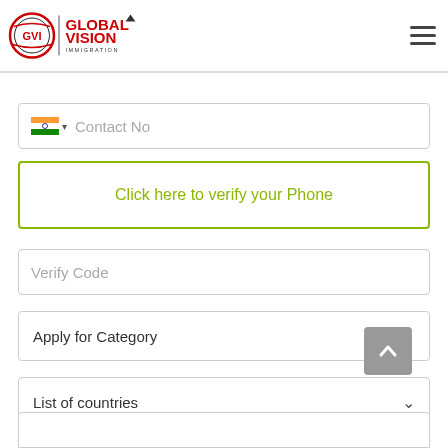[Figure (logo): Global Vision Immigration logo with circular GVI emblem and red text GLOBAL VISION IMMIGRATION]
Contact No
Click here to verify your Phone
Verify Code
Apply for Category
List of countries